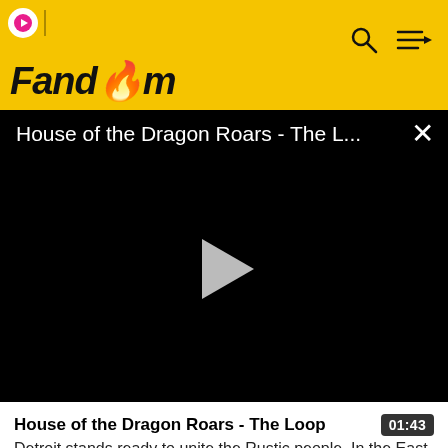Fandom
[Figure (screenshot): Video player with black background showing title 'House of the Dragon Roars - The L...' with a play button in the center and a close (X) button in the top right corner]
House of the Dragon Roars - The Loop
Detroit stands ready to unite the Rustic people. In the East and the West, both the Ursulines and Catholics stand ready to stop a united Michigan at all costs, but Coleman,